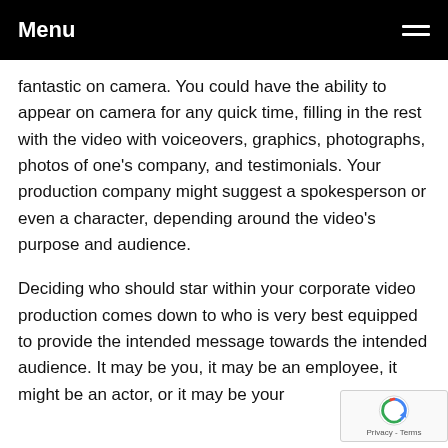Menu
fantastic on camera. You could have the ability to appear on camera for any quick time, filling in the rest with the video with voiceovers, graphics, photographs, photos of one's company, and testimonials. Your production company might suggest a spokesperson or even a character, depending around the video's purpose and audience.
Deciding who should star within your corporate video production comes down to who is very best equipped to provide the intended message towards the intended audience. It may be you, it may be an employee, it might be an actor, or it may be your